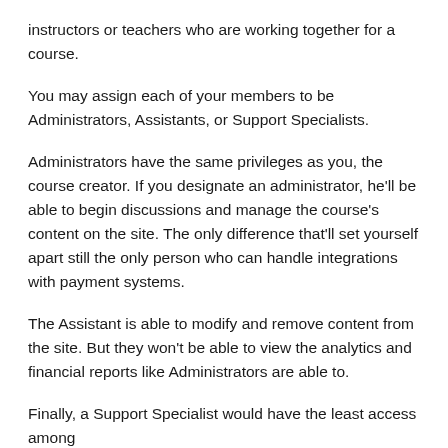instructors or teachers who are working together for a course.
You may assign each of your members to be Administrators, Assistants, or Support Specialists.
Administrators have the same privileges as you, the course creator. If you designate an administrator, he'll be able to begin discussions and manage the course's content on the site. The only difference that'll set yourself apart still the only person who can handle integrations with payment systems.
The Assistant is able to modify and remove content from the site. But they won't be able to view the analytics and financial reports like Administrators are able to.
Finally, a Support Specialist would have the least access among